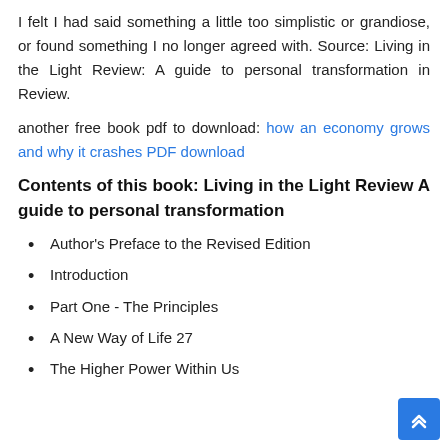I felt I had said something a little too simplistic or grandiose, or found something I no longer agreed with. Source: Living in the Light Review: A guide to personal transformation in Review.
another free book pdf to download: how an economy grows and why it crashes PDF download
Contents of this book: Living in the Light Review A guide to personal transformation
Author's Preface to the Revised Edition
Introduction
Part One - The Principles
A New Way of Life 27
The Higher Power Within Us